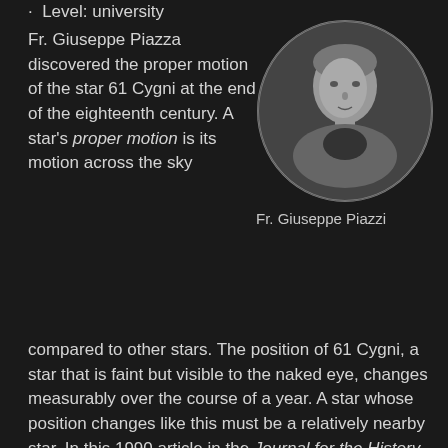Level: university
[Figure (photo): Oval portrait of Fr. Giuseppe Piazzi, a historical black and white engraving showing a man in clerical dress]
Fr. Giuseppe Piazzi
Fr. Giuseppe Piazza discovered the proper motion of the star 61 Cygni at the end of the eighteenth century. A star's proper motion is its motion across the sky compared to other stars. The position of 61 Cygni, a star that is faint but visible to the naked eye, changes measurably over the course of a year. A star whose position changes like this must be a relatively nearby star. In this 1990 article in the Journal for the History of Astronomy, Georgia Fodera Serio of the Palermo Observatory discusses the story of Fr. Piazzi and his "flying star", and writes on the importance of Piazzi's discovery. Serio notes that Piazzi "abandoned the old paradigm that 'brightness implies nearness'". This was an important step for astronomers, who